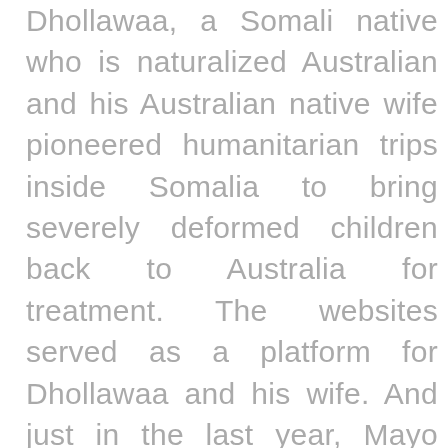Dhollawaa, a Somali native who is naturalized Australian and his Australian native wife pioneered humanitarian trips inside Somalia to bring severely deformed children back to Australia for treatment. The websites served as a platform for Dhollawaa and his wife. And just in the last year, Mayo Clinic, a prestigious hospital in Minnesota accepted to treat a severely deformed young girl posted on a Somali website without charge. While preparing her administrative procedures, volunteers realized that the